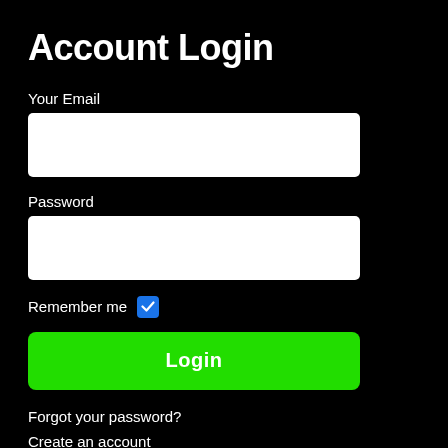Account Login
Your Email
[Figure (other): Email input field — empty white rectangle]
Password
[Figure (other): Password input field — empty white rectangle]
Remember me
[Figure (other): Blue checkbox with white checkmark, checked state]
[Figure (other): Green Login button with white bold text]
Forgot your password?
Create an account